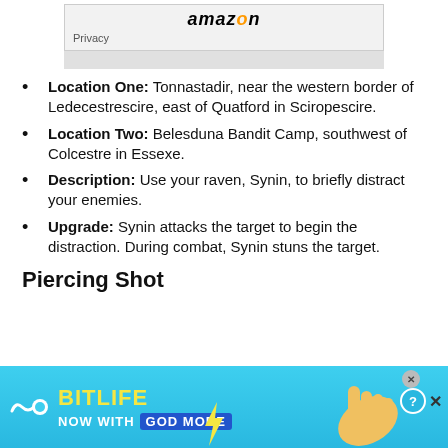[Figure (screenshot): Amazon logo with Privacy text and gray bar below]
Location One: Tonnastadir, near the western border of Ledecestrescire, east of Quatford in Sciropescire.
Location Two: Belesduna Bandit Camp, southwest of Colcestre in Essexe.
Description: Use your raven, Synin, to briefly distract your enemies.
Upgrade: Synin attacks the target to begin the distraction. During combat, Synin stuns the target.
Piercing Shot
[Figure (screenshot): BitLife advertisement banner - NOW WITH GOD MODE]